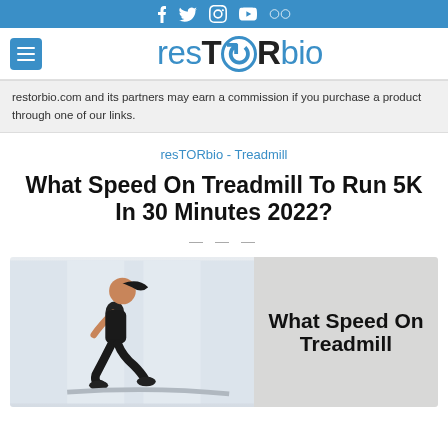f  ♦  ❤  ▶  ○○  (social media icons)
[Figure (logo): resTORbio logo with blue and black lettering]
restorbio.com and its partners may earn a commission if you purchase a product through one of our links.
resTORbio - Treadmill
What Speed On Treadmill To Run 5K In 30 Minutes 2022?
[Figure (photo): Woman running on a treadmill on the left side, with bold text overlay on the right reading 'What Speed On Treadmill']